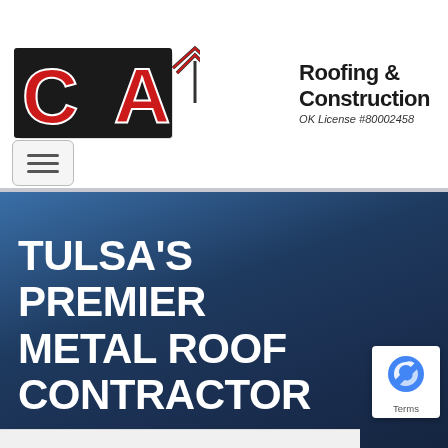[Figure (logo): C&A Roofing & Construction company logo with red block letters C&A, a house/roof silhouette icon, and text reading 'Roofing & Construction / OK License #80002458']
[Figure (other): Hamburger menu button icon (three horizontal lines) inside a rounded rectangle border]
TULSA'S PREMIER METAL ROOF CONTRACTOR